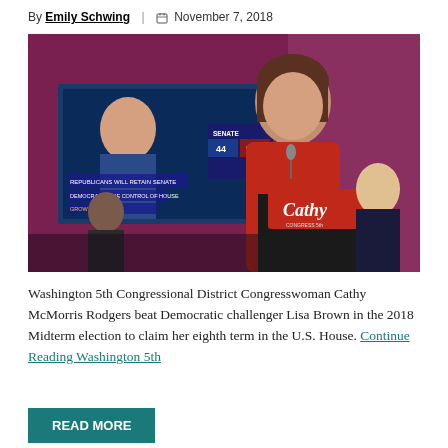By Emily Schwing | November 7, 2018
[Figure (photo): Congresswoman Cathy McMorris Rodgers speaking at a podium with 'Cathy' signage, with election results shown on a screen in the background.]
Washington 5th Congressional District Congresswoman Cathy McMorris Rodgers beat Democratic challenger Lisa Brown in the 2018 Midterm election to claim her eighth term in the U.S. House. Continue Reading Washington 5th
READ MORE